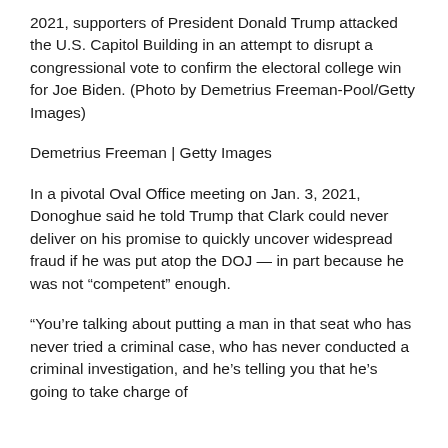2021, supporters of President Donald Trump attacked the U.S. Capitol Building in an attempt to disrupt a congressional vote to confirm the electoral college win for Joe Biden. (Photo by Demetrius Freeman-Pool/Getty Images)
Demetrius Freeman | Getty Images
In a pivotal Oval Office meeting on Jan. 3, 2021, Donoghue said he told Trump that Clark could never deliver on his promise to quickly uncover widespread fraud if he was put atop the DOJ — in part because he was not “competent” enough.
“You’re talking about putting a man in that seat who has never tried a criminal case, who has never conducted a criminal investigation, and he’s telling you that he’s going to take charge of